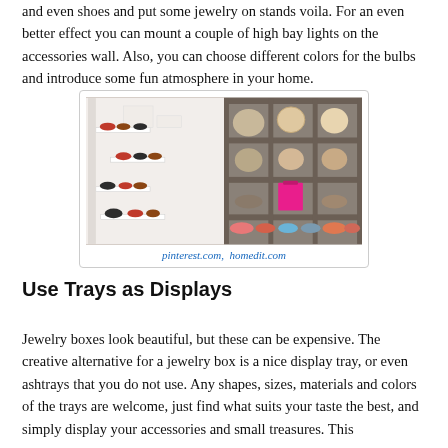and even shoes and put some jewelry on stands voila. For an even better effect you can mount a couple of high bay lights on the accessories wall. Also, you can choose different colors for the bulbs and introduce some fun atmosphere in your home.
[Figure (photo): Two photos side by side: left shows white wall shelves with various high-heeled shoes displayed; right shows wooden cubby shelves with shoes, bags, and accessories including a pink shopping bag.]
pinterest.com,  homedit.com
Use Trays as Displays
Jewelry boxes look beautiful, but these can be expensive. The creative alternative for a jewelry box is a nice display tray, or even ashtrays that you do not use. Any shapes, sizes, materials and colors of the trays are welcome, just find what suits your taste the best, and simply display your accessories and small treasures. This